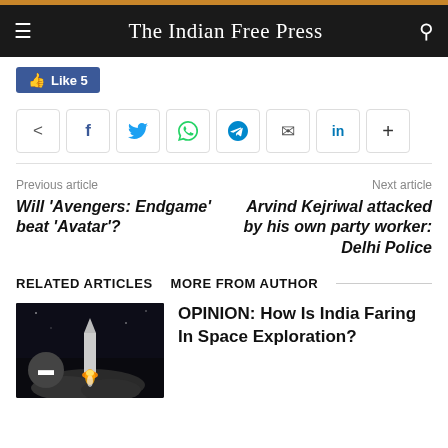The Indian Free Press
Like 5
< f (twitter) (whatsapp) (telegram) (email) in +
Previous article
Next article
Will ‘Avengers: Endgame’ beat ‘Avatar’?
Arvind Kejriwal attacked by his own party worker: Delhi Police
RELATED ARTICLES   MORE FROM AUTHOR
OPINION: How Is India Faring In Space Exploration?
[Figure (photo): Rocket launch at night with bright engine glow and smoke clouds]